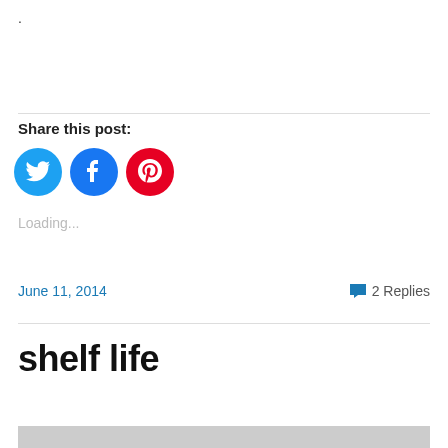.
Share this post:
[Figure (other): Three social media share buttons: Twitter (cyan circle with bird icon), Facebook (blue circle with f icon), Pinterest (red circle with P icon)]
Loading...
June 11, 2014
2 Replies
shelf life